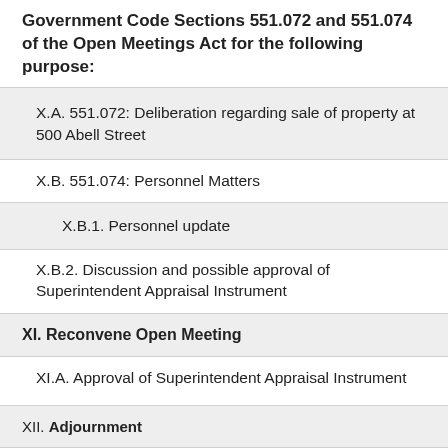Government Code Sections 551.072 and 551.074 of the Open Meetings Act for the following purpose:
X.A. 551.072:  Deliberation regarding sale of property at 500 Abell Street
X.B. 551.074:  Personnel Matters
X.B.1. Personnel update
X.B.2. Discussion and possible approval of Superintendent Appraisal Instrument
XI. Reconvene Open Meeting
XI.A. Approval of Superintendent Appraisal Instrument
XII. Adjournment